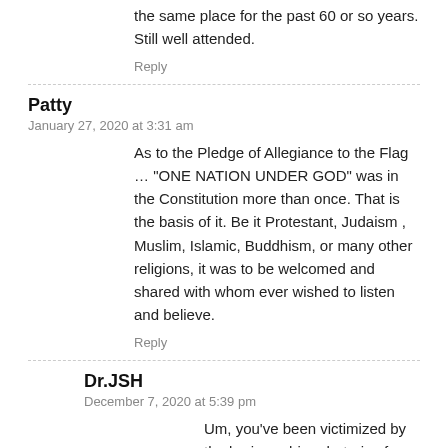the same place for the past 60 or so years. Still well attended.
Reply
Patty
January 27, 2020 at 3:31 am
As to the Pledge of Allegiance to the Flag … "ONE NATION UNDER GOD" was in the Constitution more than once. That is the basis of it. Be it Protestant, Judaism , Muslim, Islamic, Buddhism, or many other religions, it was to be welcomed and shared with whom ever wished to listen and believe.
Reply
Dr.JSH
December 7, 2020 at 5:39 pm
Um, you've been victimized by the brainwashing rhetoric of Christian nationalists. For all#TheReligiousWhite's claims of being arbiters of